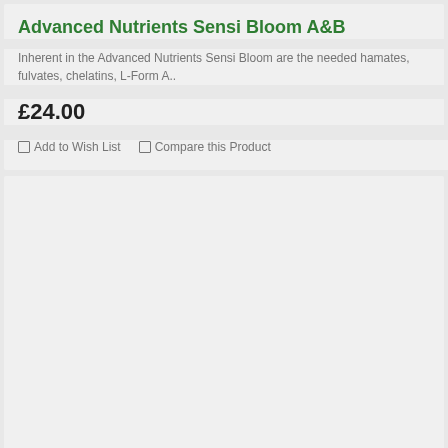Advanced Nutrients Sensi Bloom A&B
Inherent in the Advanced Nutrients Sensi Bloom are the needed hamates, fulvates, chelatins, L-Form A..
£24.00
Add to Wish List
Compare this Product
[Figure (other): Empty grey placeholder area below product card]